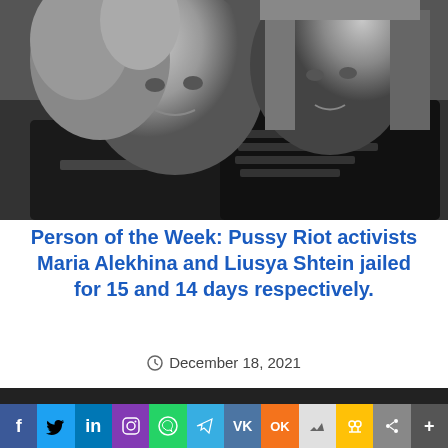[Figure (photo): Black and white photo of two women (Pussy Riot activists Maria Alekhina and Liusya Shtein) wearing black t-shirts with text, close-up portrait style]
Person of the Week: Pussy Riot activists Maria Alekhina and Liusya Shtein jailed for 15 and 14 days respectively.
December 18, 2021
We use cookies to ensure that we give you the best experience on our website. If you continue to use this site we will assume that you are happy with it.